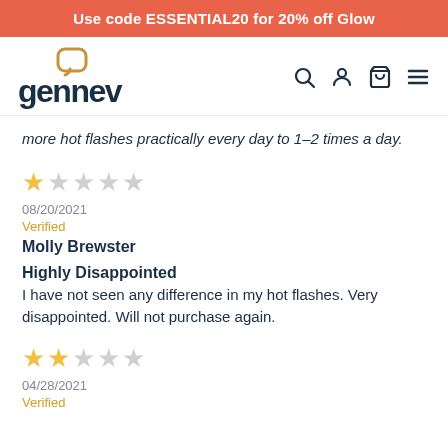Use code ESSENTIAL20 for 20% off Glow
[Figure (logo): Gennev logo with speech bubble icon and wordmark]
more hot flashes practically every day to 1-2 times a day.
★☆☆☆☆
08/20/2021
Verified
Molly Brewster
Highly Disappointed
I have not seen any difference in my hot flashes. Very disappointed. Will not purchase again.
★★☆☆☆
04/28/2021
Verified